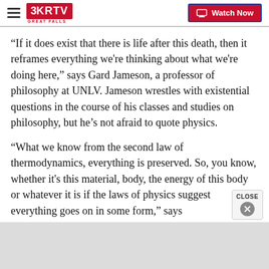3KRTV Great Falls | Watch Now
“If it does exist that there is life after this death, then it reframes everything we're thinking about what we're doing here,” says Gard Jameson, a professor of philosophy at UNLV. Jameson wrestles with existential questions in the course of his classes and studies on philosophy, but he’s not afraid to quote physics.
“What we know from the second law of thermodynamics, everything is preserved. So, you know, whether it's this material, body, the energy of this body or whatever it is if the laws of physics suggest everything goes on in some form,” says